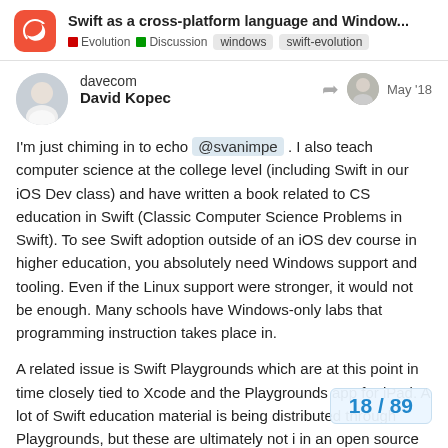Swift as a cross-platform language and Window... | Evolution | Discussion | windows | swift-evolution
davecom
David Kopec
May '18
I'm just chiming in to echo @svanimpe . I also teach computer science at the college level (including Swift in our iOS Dev class) and have written a book related to CS education in Swift (Classic Computer Science Problems in Swift). To see Swift adoption outside of an iOS dev course in higher education, you absolutely need Windows support and tooling. Even if the Linux support were stronger, it would not be enough. Many schools have Windows-only labs that programming instruction takes place in.
A related issue is Swift Playgrounds which are at this point in time closely tied to Xcode and the Playgrounds app for iPad. A lot of Swift education material is being distributed through Playgrounds, but these are ultimately not i in an open source platform at this time. Or
18 / 89